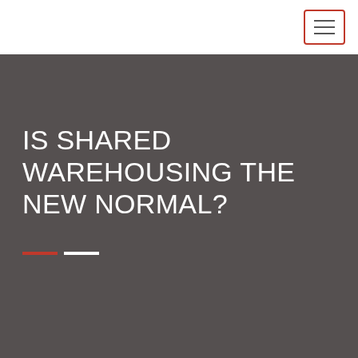IS SHARED WAREHOUSING THE NEW NORMAL?